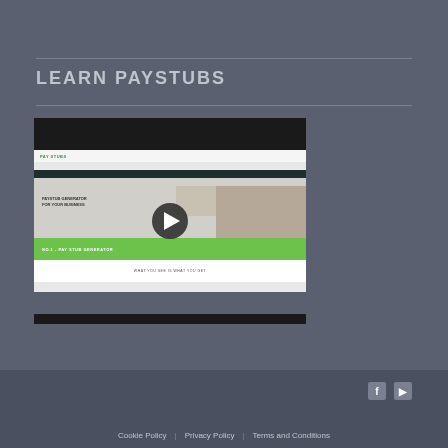LEARN PAYSTUBS
[Figure (screenshot): Embedded video player showing a screenshot of the Paystubs website with a play button overlay. The website shows the Paystub Generator homepage with a green call-to-action bar.]
Cookie Policy | Privacy Policy | Terms and Conditions